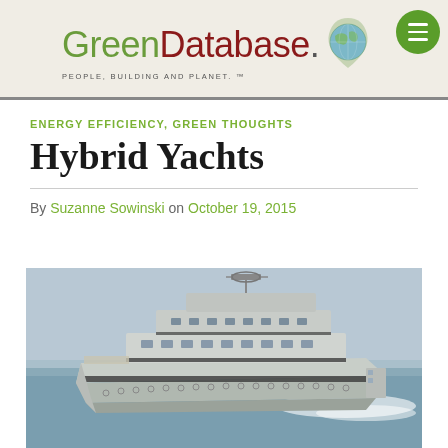GreenDatabase.org — PEOPLE, BUILDING AND PLANET.™
ENERGY EFFICIENCY, GREEN THOUGHTS
Hybrid Yachts
By Suzanne Sowinski on October 19, 2015
[Figure (photo): Large luxury hybrid yacht sailing at sea, viewed from the side, grey hull with multiple decks and radar equipment on top]